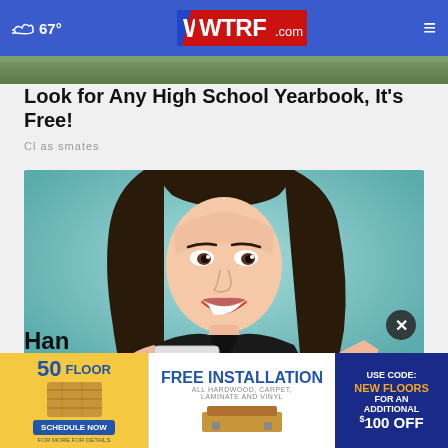67° WTRF.com
[Figure (photo): Top strip of a photo showing greenery/background]
Look for Any High School Yearbook, It's Free!
Classmates
[Figure (photo): Young woman smiling, holding up and pointing to a credit/gift card, wearing a black top against a teal background]
[Figure (infographic): Advertisement banner: 50 Floor - FREE INSTALLATION All Hardwood, Carpet, Laminate and Vinyl. USE CODE: NEW FLOORS FOR AN ADDITIONAL $100 OFF. SCHEDULE NOW.]
Han